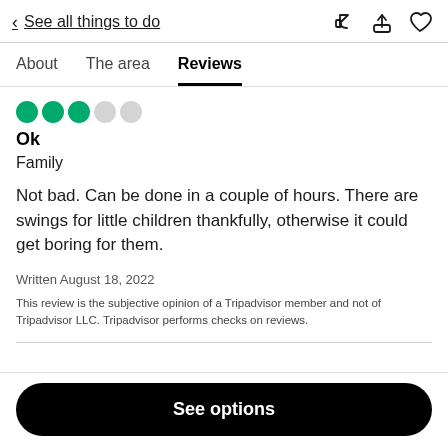< See all things to do
About   The area   Reviews
[Figure (other): 3 filled green circles and 2 empty grey circles representing a 3-out-of-5 star rating]
Ok
Family
Not bad. Can be done in a couple of hours. There are swings for little children thankfully, otherwise it could get boring for them.
Written August 18, 2022
This review is the subjective opinion of a Tripadvisor member and not of Tripadvisor LLC. Tripadvisor performs checks on reviews.
See options